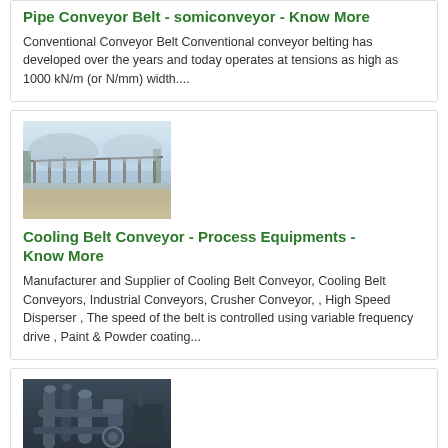Pipe Conveyor Belt - somiconveyor - Know More
Conventional Conveyor Belt Conventional conveyor belting has developed over the years and today operates at tensions as high as 1000 kN/m (or N/mm) width....
[Figure (photo): Aerial view of an outdoor conveyor belt system near a body of water with industrial structures]
Cooling Belt Conveyor - Process Equipments - Know More
Manufacturer and Supplier of Cooling Belt Conveyor, Cooling Belt Conveyors, Industrial Conveyors, Crusher Conveyor, , High Speed Disperser , The speed of the belt is controlled using variable frequency drive , Paint & Powder coating...
[Figure (photo): Industrial conveyor machinery with pipes and mechanical components in a factory setting]